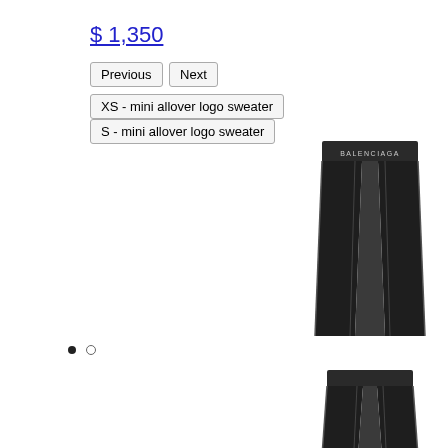$ 1,350
Previous | Next
XS - mini allover logo sweater | S - mini allover logo sweater
[Figure (photo): Black Balenciaga leggings with white logo waistband, shown front view]
• ○
[Figure (photo): Black Balenciaga leggings shown from a different angle or closer crop, partial view]